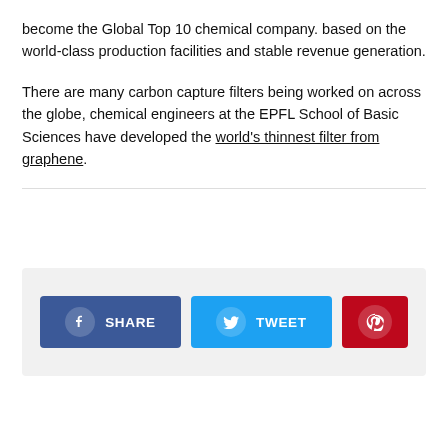become the Global Top 10 chemical company. based on the world-class production facilities and stable revenue generation.
There are many carbon capture filters being worked on across the globe, chemical engineers at the EPFL School of Basic Sciences have developed the world's thinnest filter from graphene.
[Figure (infographic): Social share bar with three buttons: Facebook SHARE (dark blue), Twitter TWEET (light blue), and Pinterest icon (red).]